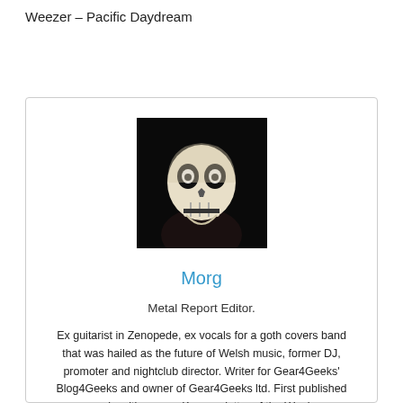Weezer – Pacific Daydream
[Figure (photo): Profile photo of a person wearing a skull face mask/paint, dark background]
Morg
Metal Report Editor.
Ex guitarist in Zenopede, ex vocals for a goth covers band that was hailed as the future of Welsh music, former DJ, promoter and nightclub director. Writer for Gear4Geeks' Blog4Geeks and owner of Gear4Geeks ltd. First published music critique was Kerrang letter of the Week.
Definitely here as the future component of…